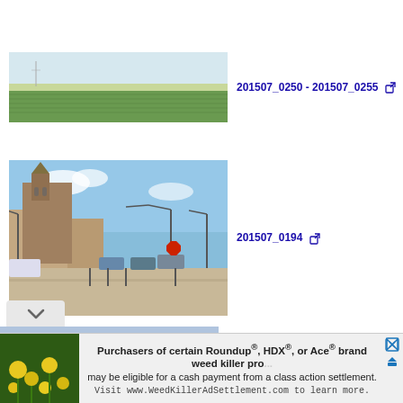[Figure (photo): Panoramic landscape photo showing green agricultural fields with flat horizon and pale sky]
201507_0250 - 201507_0255 [external link icon]
[Figure (photo): Town square photo showing a large Gothic church, street lights, parked cars, and open plaza area]
201507_0194 [external link icon]
[Figure (photo): Advertisement banner showing yellow flowers on left and text about Roundup weed killer class action settlement]